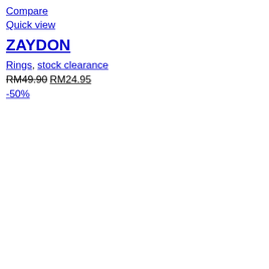Compare
Quick view
ZAYDON
Rings, stock clearance
RM49.90 RM24.95
-50%